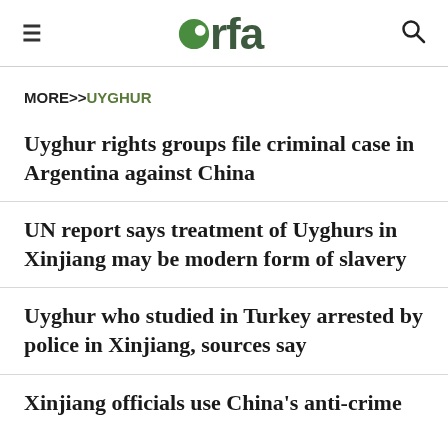≡  rfa  🔍
MORE>>UYGHUR
Uyghur rights groups file criminal case in Argentina against China
UN report says treatment of Uyghurs in Xinjiang may be modern form of slavery
Uyghur who studied in Turkey arrested by police in Xinjiang, sources say
Xinjiang officials use China's anti-crime